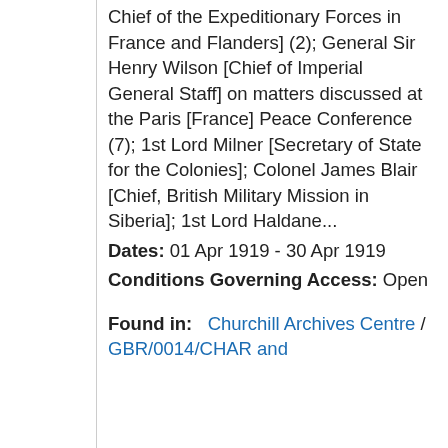Chief of the Expeditionary Forces in France and Flanders] (2); General Sir Henry Wilson [Chief of Imperial General Staff] on matters discussed at the Paris [France] Peace Conference (7); 1st Lord Milner [Secretary of State for the Colonies]; Colonel James Blair [Chief, British Military Mission in Siberia]; 1st Lord Haldane...
Dates: 01 Apr 1919 - 30 Apr 1919
Conditions Governing Access: Open
Found in: Churchill Archives Centre / GBR/0014/CHAR and